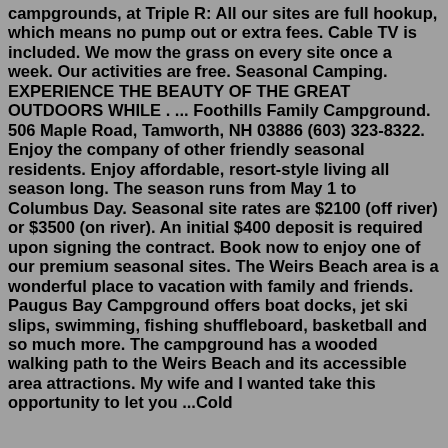campgrounds, at Triple R: All our sites are full hookup, which means no pump out or extra fees. Cable TV is included. We mow the grass on every site once a week. Our activities are free. Seasonal Camping. EXPERIENCE THE BEAUTY OF THE GREAT OUTDOORS WHILE . ... Foothills Family Campground. 506 Maple Road, Tamworth, NH 03886 (603) 323-8322. Enjoy the company of other friendly seasonal residents. Enjoy affordable, resort-style living all season long. The season runs from May 1 to Columbus Day. Seasonal site rates are $2100 (off river) or $3500 (on river). An initial $400 deposit is required upon signing the contract. Book now to enjoy one of our premium seasonal sites. The Weirs Beach area is a wonderful place to vacation with family and friends. Paugus Bay Campground offers boat docks, jet ski slips, swimming, fishing shuffleboard, basketball and so much more. The campground has a wooded walking path to the Weirs Beach and its accessible area attractions. My wife and I wanted take this opportunity to let you ...Cold